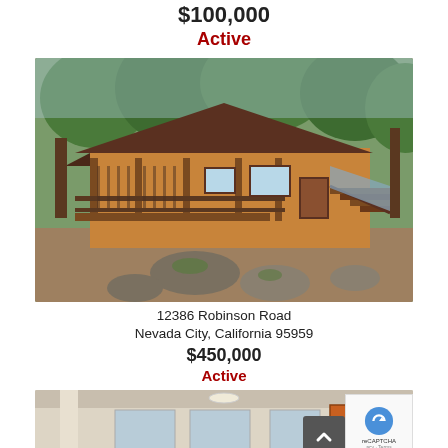$100,000
Active
[Figure (photo): Exterior photo of a wood-sided cabin with a large covered wraparound porch, surrounded by pine trees, with large rocks in the foreground. Located at 12386 Robinson Road, Nevada City, California.]
12386 Robinson Road
Nevada City, California 95959
$450,000
Active
[Figure (photo): Interior photo of a room with light-colored walls, windows, and an orange door, partially visible at the bottom of the page.]